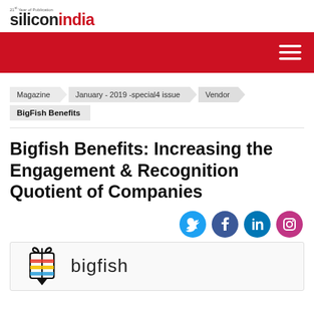siliconindia
[Figure (logo): SiliconIndia magazine logo with red 'india' text]
Magazine  January - 2019 -special4 issue  Vendor  BigFish Benefits
Bigfish Benefits: Increasing the Engagement & Recognition Quotient of Companies
[Figure (illustration): Bigfish Benefits company logo with gift box icon and bigfish text, social media icons (Twitter, Facebook, LinkedIn, Instagram)]